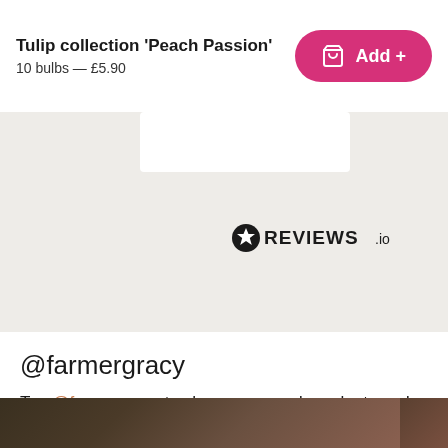Tulip collection 'Peach Passion'
10 bulbs — £5.90
[Figure (other): Pink 'Add +' button with basket icon]
[Figure (logo): REVIEWS.io logo with star icon]
@farmergracy
Tag @farmergracy to share your garden, plants and experience!
[Figure (photo): Woman smiling holding red flowers, photographed outdoors]